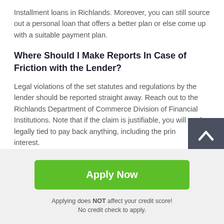Installment loans in Richlands. Moreover, you can still source out a personal loan that offers a better plan or else come up with a suitable payment plan.
Where Should I Make Reports In Case of Friction with the Lender?
Legal violations of the set statutes and regulations by the lender should be reported straight away. Reach out to the Richlands Department of Commerce Division of Financial Institutions. Note that if the claim is justifiable, you will not be legally tied to pay back anything, including the principal or interest.
Apply Now
Applying does NOT affect your credit score!
No credit check to apply.